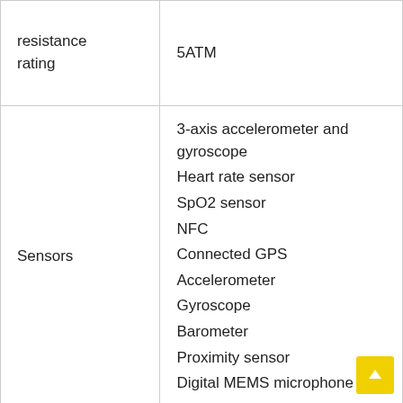| Property | Value |
| --- | --- |
| resistance rating | 5ATM |
| Sensors | 3-axis accelerometer and gyroscope
Heart rate sensor
SpO2 sensor
NFC
Connected GPS
Accelerometer
Gyroscope
Barometer
Proximity sensor
Digital MEMS microphone |
|  | 100mAh |